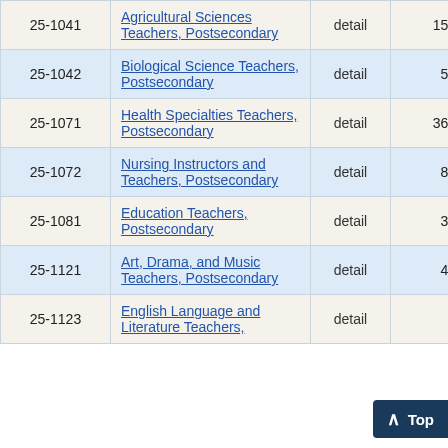| Code | Occupation | Type | Employment |  |
| --- | --- | --- | --- | --- |
| 25-1041 | Agricultural Sciences Teachers, Postsecondary | detail | 150 | 24 |
| 25-1042 | Biological Science Teachers, Postsecondary | detail | 50 | 2 |
| 25-1071 | Health Specialties Teachers, Postsecondary | detail | 360 | 1 |
| 25-1072 | Nursing Instructors and Teachers, Postsecondary | detail | 80 | 8 |
| 25-1081 | Education Teachers, Postsecondary | detail | 30 | 21 |
| 25-1121 | Art, Drama, and Music Teachers, Postsecondary | detail | 40 | 5 |
| 25-1123 | English Language and Literature Teachers, | detail | 5 |  |